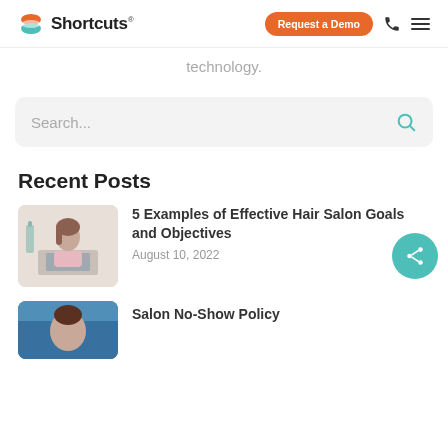Shortcuts — Request a Demo
technology.
[Figure (screenshot): Search bar with placeholder text 'Search...' and a teal search icon on the right, on a light grey rounded background]
Recent Posts
[Figure (photo): Woman working at a laptop, light background, pink shirt]
5 Examples of Effective Hair Salon Goals and Objectives
August 10, 2022
Salon No-Show Policy